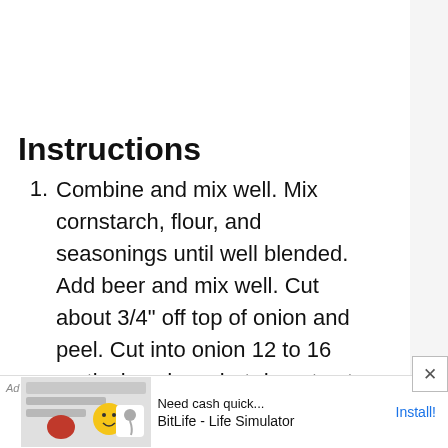Instructions
Combine and mix well. Mix cornstarch, flour, and seasonings until well blended. Add beer and mix well. Cut about 3/4" off top of onion and peel. Cut into onion 12 to 16 vertical wedges, but do not cut through the bottom root end. Remove about 1" of petals from the center of the onion. You may
[Figure (screenshot): Mobile app advertisement banner for BitLife - Life Simulator with Install button]
[Figure (infographic): Floating UI buttons: up arrow, heart with count 2,549, and red search button]
[Figure (other): Close button (X) in bottom right corner of ad]